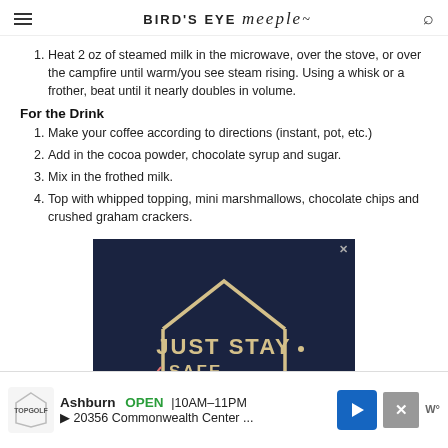BIRD'S EYE meeple
Heat 2 oz of steamed milk in the microwave, over the stove, or over the campfire until warm/you see steam rising. Using a whisk or a frother, beat until it nearly doubles in volume.
For the Drink
Make your coffee according to directions (instant, pot, etc.)
Add in the cocoa powder, chocolate syrup and sugar.
Mix in the frothed milk.
Top with whipped topping, mini marshmallows, chocolate chips and crushed graham crackers.
[Figure (illustration): Dark navy blue advertisement with house icon outline in cream/tan lines and text reading 'JUST STAY / checkmark SAFE / arrow INSIDE / + POSITIVE' in cream and coral/red letters on dark background]
[Figure (infographic): Bottom banner advertisement for Topgolf in Ashburn showing OPEN 10AM-11PM, 20356 Commonwealth Center... with Topgolf logo, blue directional arrow button, and weather widget]